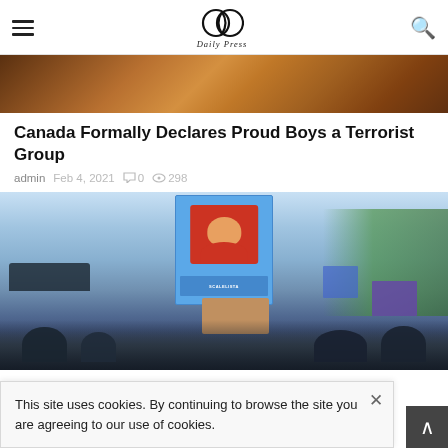Daily Press — navigation header with hamburger menu, logo, and search icon
[Figure (photo): Top partial photo showing warm brown/orange tones — bottom portion of a previous article image]
Canada Formally Declares Proud Boys a Terrorist Group
admin  Feb 4, 2021  0  298
[Figure (photo): Protest scene: person holding up a blue campaign sign with a face on it, crowd in background, urban street setting with trees and parked cars]
This site uses cookies. By continuing to browse the site you are agreeing to our use of cookies.